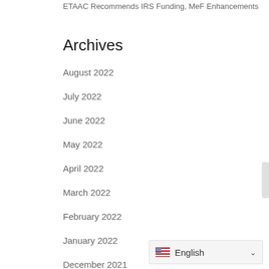ETAAC Recommends IRS Funding, MeF Enhancements
Archives
August 2022
July 2022
June 2022
May 2022
April 2022
March 2022
February 2022
January 2022
December 2021
November 2021
October 2021
English